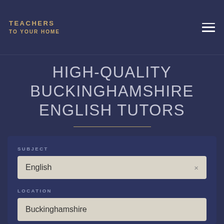[Figure (logo): Teachers To Your Home logo in gold uppercase text]
HIGH-QUALITY BUCKINGHAMSHIRE ENGLISH TUTORS
SUBJECT
English ×
LOCATION
Buckinghamshire